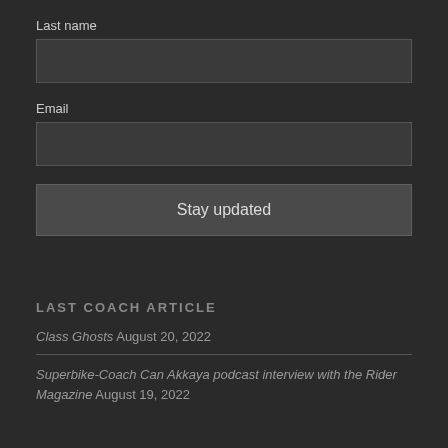Last name
Email
Stay updated
LAST COACH ARTICLE
Class Ghosts August 20, 2022
Superbike-Coach Can Akkaya podcast interview with the Rider Magazine August 19, 2022